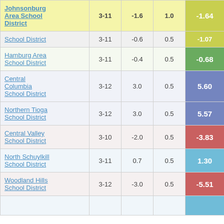| School District | Grades | Col3 | Col4 | Score |
| --- | --- | --- | --- | --- |
| Johnsonburg Area School District | 3-11 | -1.6 | 1.0 | -1.64 |
| School District | 3-11 | -0.6 | 0.5 | -1.07 |
| Hamburg Area School District | 3-11 | -0.4 | 0.5 | -0.68 |
| Central Columbia School District | 3-12 | 3.0 | 0.5 | 5.60 |
| Northern Tioga School District | 3-12 | 3.0 | 0.5 | 5.57 |
| Central Valley School District | 3-10 | -2.0 | 0.5 | -3.83 |
| North Schuylkill School District | 3-11 | 0.7 | 0.5 | 1.30 |
| Woodland Hills School District | 3-12 | -3.0 | 0.5 | -5.51 |